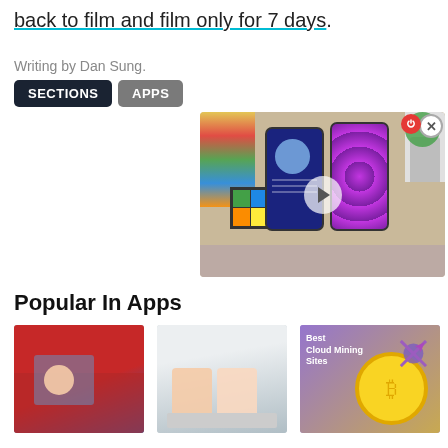back to film and film only for 7 days.
Writing by Dan Sung.
SECTIONS
APPS
[Figure (screenshot): Video player thumbnail showing two smartphones with colorful wallpapers on a wooden desk with stationery. A play button is visible. A close (X) button and a red power icon are in the corner.]
Popular In Apps
[Figure (photo): Person in a red car, seen through the window]
[Figure (photo): Two people looking at a document or tablet together]
[Figure (illustration): Best Cloud Mining Sites - promotional graphic with coin and dart]